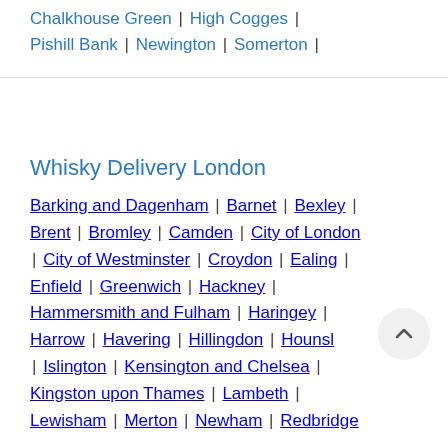Chalkhouse Green | High Cogges | Pishill Bank | Newington | Somerton |
Whisky Delivery London
Barking and Dagenham | Barnet | Bexley | Brent | Bromley | Camden | City of London | City of Westminster | Croydon | Ealing | Enfield | Greenwich | Hackney | Hammersmith and Fulham | Haringey | Harrow | Havering | Hillingdon | Hounsl… | Islington | Kensington and Chelsea | Kingston upon Thames | Lambeth | Lewisham | Merton | Newham | Redbridge